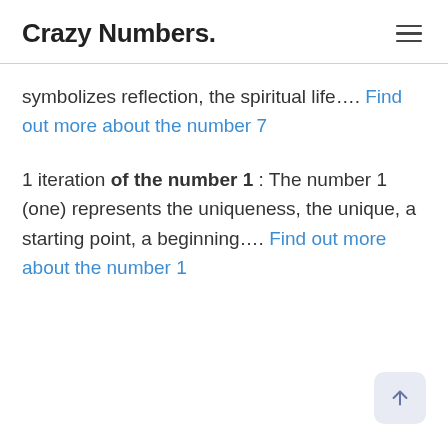Crazy Numbers.
symbolizes reflection, the spiritual life…. Find out more about the number 7
1 iteration of the number 1 : The number 1 (one) represents the uniqueness, the unique, a starting point, a beginning…. Find out more about the number 1